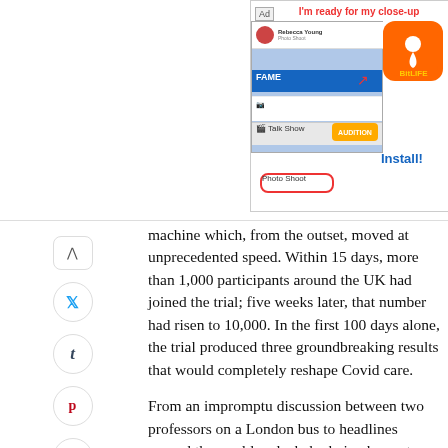[Figure (screenshot): Advertisement banner showing BitLife app ad with 'I'm ready for my close-up' headline, app screenshot with photo shoot and talk show options highlighted, BitLife orange icon, and Install! button]
machine which, from the outset, moved at unprecedented speed. Within 15 days, more than 1,000 participants around the UK had joined the trial; five weeks later, that number had risen to 10,000. In the first 100 days alone, the trial produced three groundbreaking results that would completely reshape Covid care.
From an impromptu discussion between two professors on a London bus to headlines around the world and a baby being born at home in the midst of the pandemic this is the inside story of Recovery, by three medics who have been